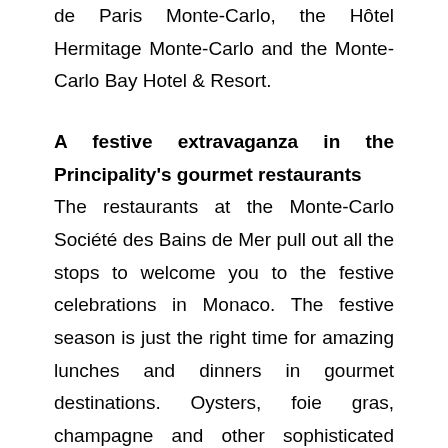de Paris Monte-Carlo, the Hôtel Hermitage Monte-Carlo and the Monte-Carlo Bay Hotel & Resort.
A festive extravaganza in the Principality's gourmet restaurants
The restaurants at the Monte-Carlo Société des Bains de Mer pull out all the stops to welcome you to the festive celebrations in Monaco. The festive season is just the right time for amazing lunches and dinners in gourmet destinations. Oysters, foie gras, champagne and other sophisticated treats are all part of the fun on the most important day of the year. Christmas brunch at the renowned Blue Bay in the